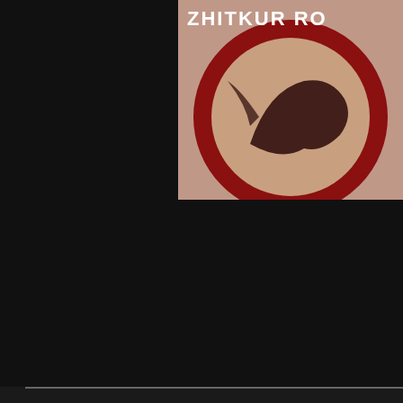[Figure (screenshot): Dark background with partially visible thumbnail image in top-right corner showing a circular dragon/mascot logo with text ZHITKUR RO partially visible at the top]
[Browse Channels] ELECTRO
Subscribe for updates!
Your email
Submit!